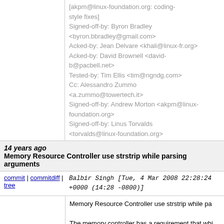[akpm@linux-foundation.org: coding-style fixes]
Signed-off-by: Byron Bradley <byron.bbradley@gmail.com>
Acked-by: Jean Delvare <khali@linux-fr.org>
Acked-by: David Brownell <david-b@pacbell.net>
Tested-by: Tim Ellis <tim@ngndg.com>
Cc: Alessandro Zummo <a.zummo@towertech.it>
Signed-off-by: Andrew Morton <akpm@linux-foundation.org>
Signed-off-by: Linus Torvalds <torvalds@linux-foundation.org>
14 years ago   Memory Resource Controller use strstrip while parsing arguments
commit | commitdiff | tree   Balbir Singh [Tue, 4 Mar 2008 22:28:24 +0000 (14:28 -0800)]
Memory Resource Controller use strstrip while pa...

The memory controller has a requirement that whi... to use echo -
n. This patch fixes the problem and makes the UI...

Signed-off-by: Balbir Singh <balbir@linux.vnet.ibm.com>
Cc: Paul Menage <menage@google.com>